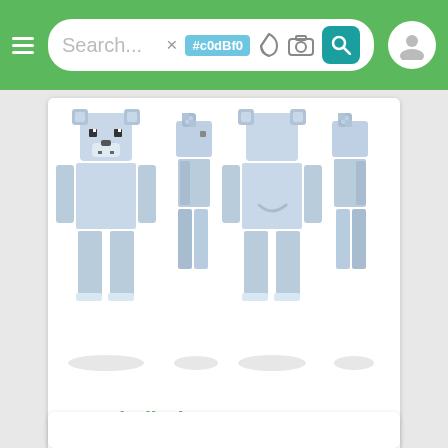Search... #c0dBf0
[Figure (screenshot): Minecraft skin preview showing a light blue bear character from four angles (front, side, back, side) with blocky pixel art style on white background]
FreederikDietz
64x64  👁 99  ⬇ 6